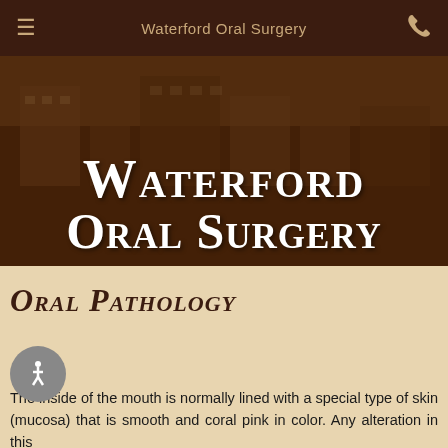Waterford Oral Surgery
[Figure (photo): Hero image showing Waterford Oral Surgery building/cityscape with dark brown overlay and large decorative serif title 'Waterford Oral Surgery' in white small-caps font]
Waterford Oral Surgery
ORAL PATHOLOGY
The inside of the mouth is normally lined with a special type of skin (mucosa) that is smooth and coral pink in color. Any alteration in this